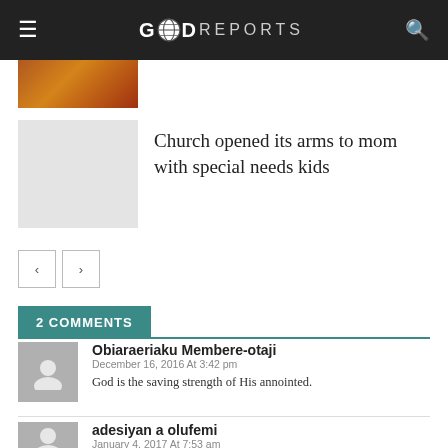GOD REPORTS
[Figure (photo): Partially visible thumbnail image with orange/fire tones at top left]
[Figure (photo): Light gray placeholder thumbnail for article]
Church opened its arms to mom with special needs kids
2 COMMENTS
Obiaraeriaku Membere-otaji
December 16, 2016 At 3:42 pm
God is the saving strength of His annointed.
adesiyan a olufemi
January 4, 2017 At 7:53 am